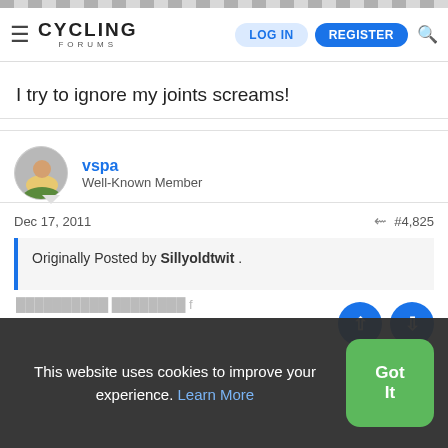Cycling Forums — LOG IN | REGISTER
I try to ignore my joints screams!
vspa
Well-Known Member
Dec 17, 2011  #4,825
Originally Posted by Sillyoldtwit .
This website uses cookies to improve your experience. Learn More  Got It